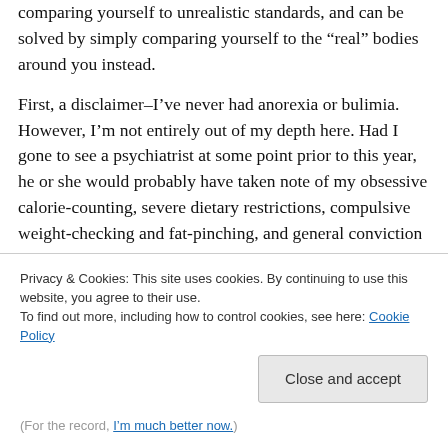comparing yourself to unrealistic standards, and can be solved by simply comparing yourself to the “real” bodies around you instead.
First, a disclaimer–I’ve never had anorexia or bulimia. However, I’m not entirely out of my depth here. Had I gone to see a psychiatrist at some point prior to this year, he or she would probably have taken note of my obsessive calorie-counting, severe dietary restrictions, compulsive weight-checking and fat-pinching, and general conviction that I was “fat,” and diagnosed me with something called “eating disorder not otherwise specified,” or “EDNOS.”
Privacy & Cookies: This site uses cookies. By continuing to use this website, you agree to their use.
To find out more, including how to control cookies, see here: Cookie Policy
Close and accept
(For the record, I’m much better now.)